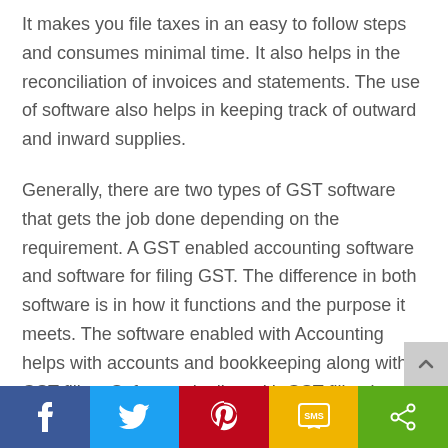It makes you file taxes in an easy to follow steps and consumes minimal time. It also helps in the reconciliation of invoices and statements. The use of software also helps in keeping track of outward and inward supplies.
Generally, there are two types of GST software that gets the job done depending on the requirement. A GST enabled accounting software and software for filing GST. The difference in both software is in how it functions and the purpose it meets. The software enabled with Accounting helps with accounts and bookkeeping along with GST filing. Software dealing with GST filing is linked with the account and makes